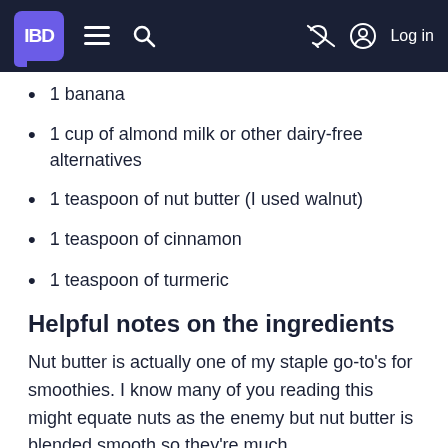IBD [navigation bar with menu, search, and log in]
1 banana
1 cup of almond milk or other dairy-free alternatives
1 teaspoon of nut butter (I used walnut)
1 teaspoon of cinnamon
1 teaspoon of turmeric
Helpful notes on the ingredients
Nut butter is actually one of my staple go-to's for smoothies. I know many of you reading this might equate nuts as the enemy but nut butter is blended smooth so they're much